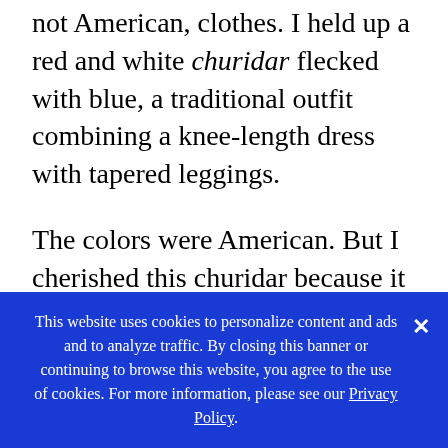not American, clothes. I held up a red and white churidar flecked with blue, a traditional outfit combining a knee-length dress with tapered leggings.
The colors were American. But I cherished this churidar because it reminded me of India. It was a Christmas gift from my father. The fabric was embedded with tiny flashing mirrors that reflected my skin, which was dark even by Indian standards. Staring at the churidar, at my skin, I
This website uses cookies to personalize content and ads and to analyze traffic. By closing this banner or continuing to browse this website, you agree to the use of cookies. For more information, please see our Privacy Policy.